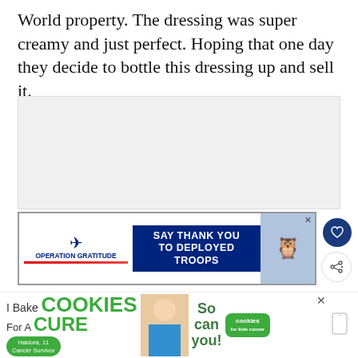World property. The dressing was super creamy and just perfect. Hoping that one day they decide to bottle this dressing up and sell it.
[Figure (other): Gray placeholder advertisement area]
[Figure (other): Operation Gratitude banner ad: SAY THANK YOU TO DEPLOYED TROOPS]
[Figure (other): Floating action button: heart icon (save/favorite)]
[Figure (other): Floating action button: share icon]
WHAT'S NEXT → Review of California Gr...
[Figure (other): I Bake COOKIES For A CURE - Haidora, 11 Cancer Survivor - So can you! cookies for kids cancer advertisement with close button]